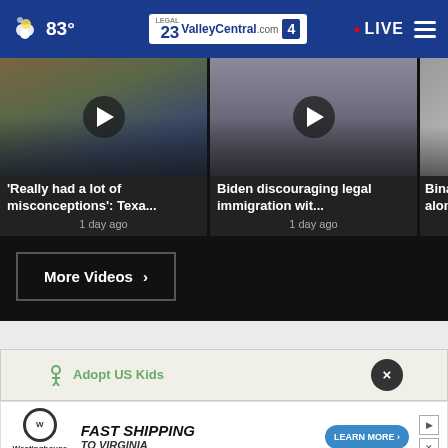83° ValleyCentral.com LEGAL 23 4 • LIVE
[Figure (screenshot): Video thumbnail of protest crowd with play button overlay]
'Really had a lot of misconceptions': Texa... 1 day ago
[Figure (screenshot): Video thumbnail of man speaking with play button overlay]
Biden discouraging legal immigration wit... 1 day ago
[Figure (screenshot): Partial video thumbnail third card]
Binati... along...
More Videos ›
[Figure (screenshot): Adopt US Kids advertisement banner with HHS logo and close button]
[Figure (screenshot): Westinghouse Generators advertisement - FAST SHIPPING TO VIRGINIA - LEARN MORE button]